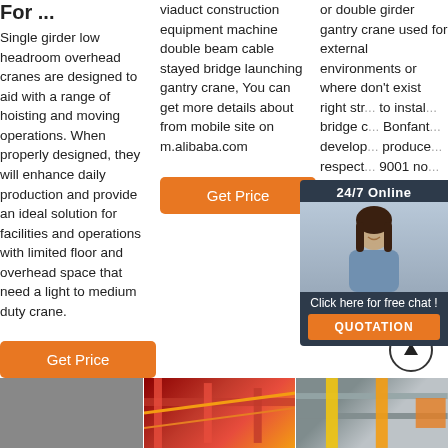For ...
Single girder low headroom overhead cranes are designed to aid with a range of hoisting and moving operations. When properly designed, they will enhance daily production and provide an ideal solution for facilities and operations with limited floor and overhead space that need a light to medium duty crane.
Get Price
viaduct construction equipment machine double beam cable stayed bridge launching gantry crane, You can get more details about from mobile site on m.alibaba.com
Get Price
or double girder gantry crane used for external environments or where don't exist right str... to instal... bridge c... Bonfant... develop... produce... respect... 9001 no... Main fea... Certifica... capacity... metric ton
Get Price
[Figure (photo): Red crane structure image]
[Figure (photo): Yellow overhead crane in warehouse]